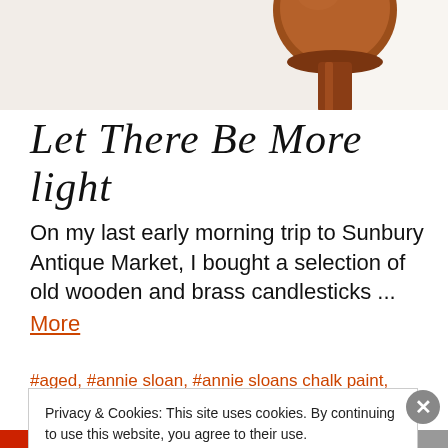[Figure (photo): Top portion of a wooden brown candlestick base against a light background]
Let There Be More light
On my last early morning trip to Sunbury Antique Market, I bought a selection of old wooden and brass candlesticks ... More
#aged, #annie sloan, #annie sloans chalk paint, #creativity, #decorated furniture, #diy, #etsy, #graphite, #re-invented, #reloved, #reused , #sunbury antique marlet, #upcycled, #vintage
Privacy & Cookies: This site uses cookies. By continuing to use this website, you agree to their use.
To find out more, including how to control cookies, see here: Cookie Policy
Close and accept